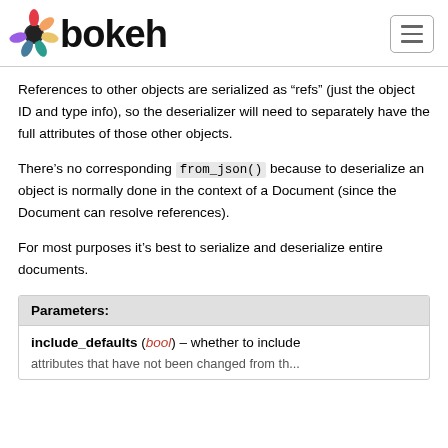bokeh
References to other objects are serialized as “refs” (just the object ID and type info), so the deserializer will need to separately have the full attributes of those other objects.
There’s no corresponding from_json() because to deserialize an object is normally done in the context of a Document (since the Document can resolve references).
For most purposes it's best to serialize and deserialize entire documents.
| Parameters: |
| --- |
| include_defaults (bool) – whether to include attributes that have not been changed from th... |